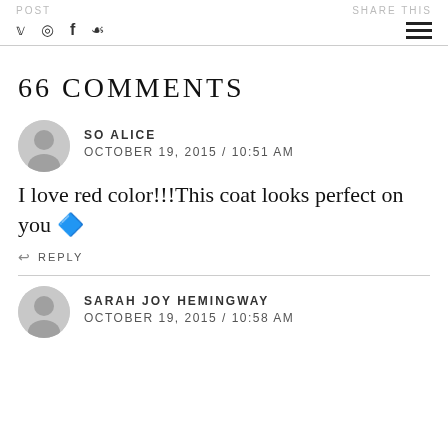POST | social icons (twitter, instagram, facebook, pinterest) | hamburger menu | SHARE THIS
66 COMMENTS
SO ALICE
OCTOBER 19, 2015 / 10:51 AM
I love red color!!!This coat looks perfect on you 🔴
REPLY
SARAH JOY HEMINGWAY
OCTOBER 19, 2015 / 10:58 AM